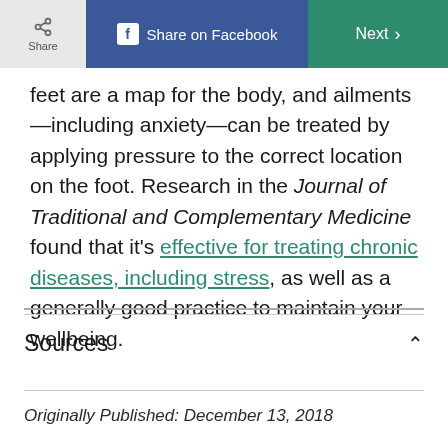Share | Share on Facebook | Next
feet are a map for the body, and ailments—including anxiety—can be treated by applying pressure to the correct location on the foot. Research in the Journal of Traditional and Complementary Medicine found that it's effective for treating chronic diseases, including stress, as well as a generally good practice to maintain your wellbeing.
Sources
Originally Published: December 13, 2018